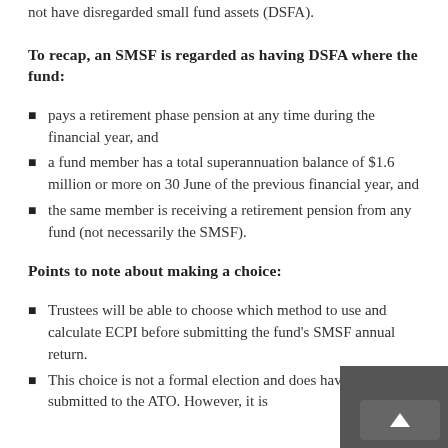not have disregarded small fund assets (DSFA).
To recap, an SMSF is regarded as having DSFA where the fund:
pays a retirement phase pension at any time during the financial year, and
a fund member has a total superannuation balance of $1.6 million or more on 30 June of the previous financial year, and
the same member is receiving a retirement pension from any fund (not necessarily the SMSF).
Points to note about making a choice:
Trustees will be able to choose which method to use and calculate ECPI before submitting the fund's SMSF annual return.
This choice is not a formal election and does have to be submitted to the ATO. However, it is